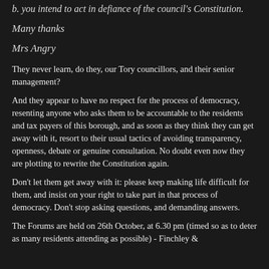b. you intend to act in defiance of the council's Constitution.
Many thanks
Mrs Angry
They never learn, do they, our Tory councillors, and their senior management?
And they appear to have no respect for the process of democracy, resenting anyone who asks them to be accountable to the residents and tax payers of this borough, and as soon as they think they can get away with it, resort to their usual tactics of avoiding transparency, openness, debate or genuine consultation. No doubt even now they are plotting to rewrite the Constitution again.
Don't let them get away with it: please keep making life difficult for them, and insist on your right to take part in that process of democracy. Don't stop asking questions, and demanding answers.
The Forums are held on 26th October, at 6.30 pm (timed so as to deter as many residents attending as possible) - Finchley &